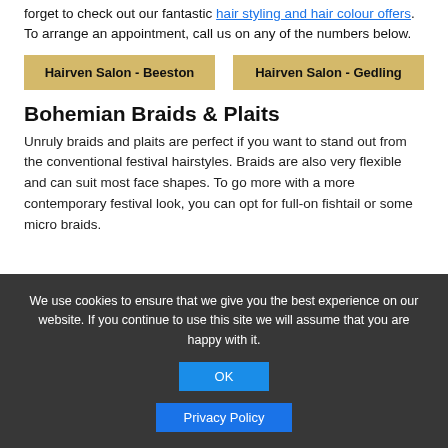forget to check out our fantastic hair styling and hair colour offers. To arrange an appointment, call us on any of the numbers below.
Hairven Salon - Beeston | Hairven Salon - Gedling
Bohemian Braids & Plaits
Unruly braids and plaits are perfect if you want to stand out from the conventional festival hairstyles. Braids are also very flexible and can suit most face shapes. To go more with a more contemporary festival look, you can opt for full-on fishtail or some micro braids.
We use cookies to ensure that we give you the best experience on our website. If you continue to use this site we will assume that you are happy with it. OK  Privacy Policy